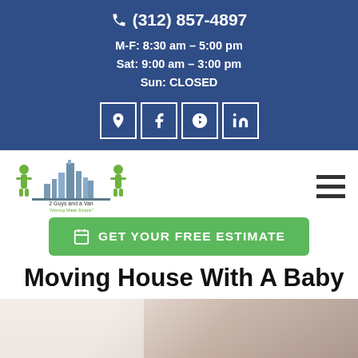📞 (312) 857-4897
M-F: 8:30 am – 5:00 pm
Sat: 9:00 am – 3:00 pm
Sun: CLOSED
[Figure (logo): 2 Guys and a Van moving company logo with two green figures and city skyline. Tagline: Moving Made Simple]
GET YOUR FREE ESTIMATE
Moving House With A Baby
[Figure (photo): Partially visible photo of a woman with a baby, bright background]